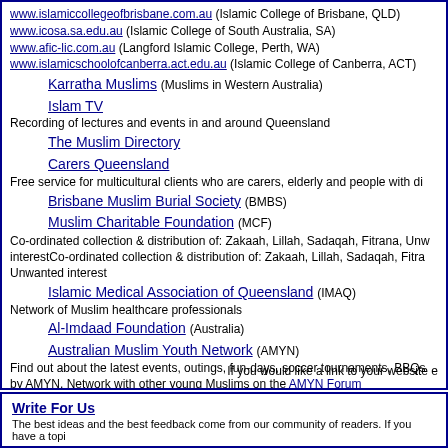www.islamiccollegeofbrisbane.com.au (Islamic College of Brisbane, QLD)
www.icosa.sa.edu.au (Islamic College of South Australia, SA)
www.afic-lic.com.au (Langford Islamic College, Perth, WA)
www.islamicschoolofcanberra.act.edu.au (Islamic College of Canberra, ACT)
Karratha Muslims (Muslims in Western Australia)
Islam TV
Recording of lectures and events in and around Queensland
The Muslim Directory
Carers Queensland
Free service for multicultural clients who are carers, elderly and people with di
Brisbane Muslim Burial Society (BMBS)
Muslim Charitable Foundation (MCF)
Co-ordinated collection & distribution of: Zakaah, Lillah, Sadaqah, Fitrana, Unwanted interestCo-ordinated collection & distribution of: Zakaah, Lillah, Sadaqah, Fitra, Unwanted interest
Islamic Medical Association of Queensland (IMAQ)
Network of Muslim healthcare professionals
Al-Imdaad Foundation (Australia)
Australian Muslim Youth Network (AMYN)
Find out about the latest events, outings, fun-days, soccer tournaments, BBQs by AMYN. Network with other young Muslims on the AMYN Forum
Islamic Council of Queensland
Umbrella body representing various Mosques and Societies in Queensland
If you would like a link to your website e
Write For Us
The best ideas and the best feedback come from our community of readers. If you have a topi